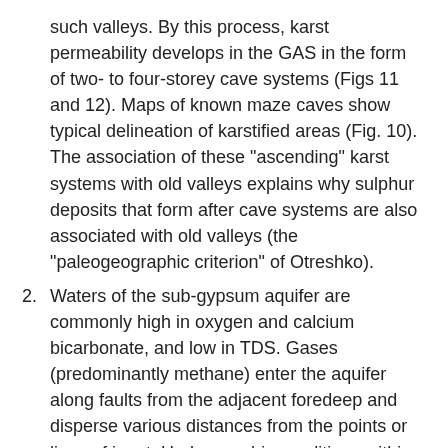such valleys. By this process, karst permeability develops in the GAS in the form of two- to four-storey cave systems (Figs 11 and 12). Maps of known maze caves show typical delineation of karstified areas (Fig. 10). The association of these "ascending" karst systems with old valleys explains why sulphur deposits that form after cave systems are also associated with old valleys (the "paleogeographic criterion" of Otreshko).
Waters of the sub-gypsum aquifer are commonly high in oxygen and calcium bicarbonate, and low in TDS. Gases (predominantly methane) enter the aquifer along faults from the adjacent foredeep and disperse various distances from the points or lines of input. Under aerobic conditions within the aquifer, methane is transformed under microbial mediation to simple organic compounds that can be utilized by sulphate-reducing bacteria